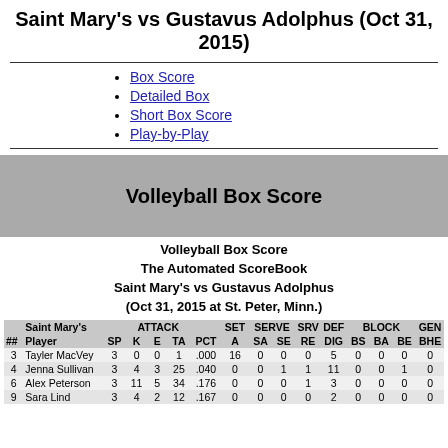Saint Mary's vs Gustavus Adolphus (Oct 31, 2015)
Box Score
Detailed Box
Short Box Score
Play-by-Play
[Figure (other): Gray banner with text 'Volleyball Box Score']
Volleyball Box Score
The Automated ScoreBook
Saint Mary's vs Gustavus Adolphus
(Oct 31, 2015 at St. Peter, Minn.)
| ["Saint Mary's", '', '', 'ATTACK', '', '', 'SET', 'SERVE', 'SRV', 'DEF', 'BLOCK', '', 'GEN'] | ['##', 'Player', 'SP', 'K', 'E', 'TA', 'PCT', 'A', 'SA', 'SE', 'RE', 'DIG', 'BS', 'BA', 'BE', 'BHE'] |
| --- | --- |
| 3 | Tayler MacVey | 3 | 0 | 0 | 1 | .000 | 16 | 0 | 0 | 0 | 5 | 0 | 0 | 0 | 0 |
| 4 | Jenna Sullivan | 3 | 4 | 3 | 25 | .040 | 0 | 0 | 1 | 1 | 11 | 0 | 0 | 1 | 0 |
| 6 | Alex Peterson | 3 | 11 | 5 | 34 | .176 | 0 | 0 | 0 | 1 | 3 | 0 | 0 | 0 | 0 |
| 9 | Sara Lind | 3 | 4 | 2 | 12 | .167 | 0 | 0 | 0 | 0 | 2 | 0 | 0 | 0 | 0 |